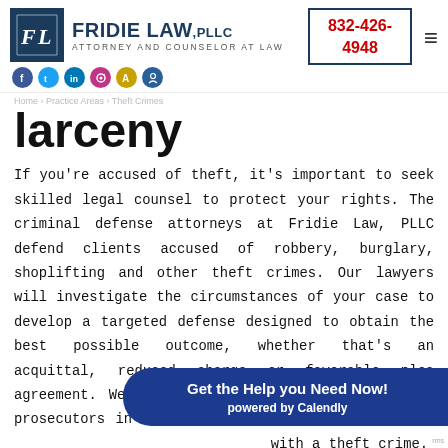Fridie Law, PLLC — Attorney and Counselor at Law — 832-426-4948
larceny
If you're accused of theft, it's important to seek skilled legal counsel to protect your rights. The criminal defense attorneys at Fridie Law, PLLC defend clients accused of robbery, burglary, shoplifting and other theft crimes. Our lawyers will investigate the circumstances of your case to develop a targeted defense designed to obtain the best possible outcome, whether that's an acquittal, reduced charge or favorable plea agreement. We draw on our experience challenging prosecutors in both sta[te and] federal court to uphol[d the rights of anyone charged] with a theft crime.
[Figure (infographic): Calendly call-to-action bar: 'Get the Help you Need Now! powered by Calendly']